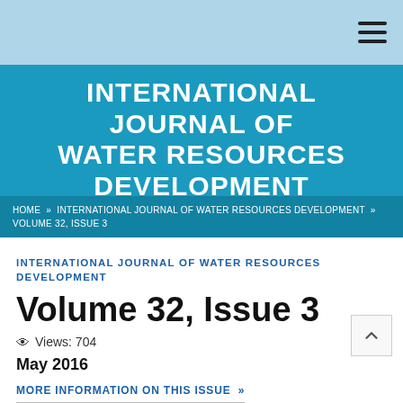INTERNATIONAL JOURNAL OF WATER RESOURCES DEVELOPMENT
HOME » INTERNATIONAL JOURNAL OF WATER RESOURCES DEVELOPMENT » VOLUME 32, ISSUE 3
INTERNATIONAL JOURNAL OF WATER RESOURCES DEVELOPMENT
Volume 32, Issue 3
Views: 704
May 2016
MORE INFORMATION ON THIS ISSUE »
SPECIAL ISSUE: Energy for Water: Regional Case Studies